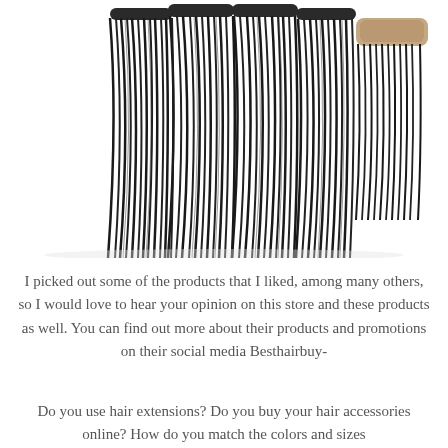[Figure (photo): Four bundles of long straight black hair extensions and one lace closure piece with a brownish base, displayed against a white background.]
I picked out some of the products that I liked, among many others, so I would love to hear your opinion on this store and these products as well. You can find out more about their products and promotions on their social media Besthairbuy-
Do you use hair extensions? Do you buy your hair accessories online? How do you match the colors and sizes